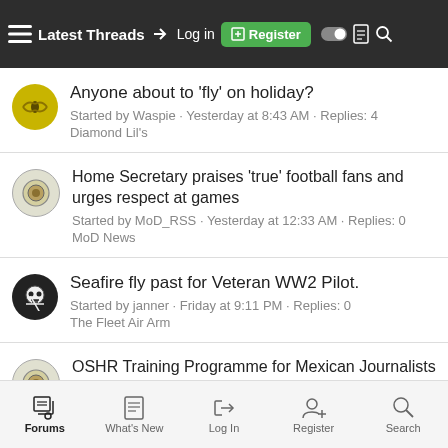Latest Threads | Log in | Register
Anyone about to 'fly' on holiday?
Started by Waspie · Yesterday at 8:43 AM · Replies: 4
Diamond Lil's
Home Secretary praises 'true' football fans and urges respect at games
Started by MoD_RSS · Yesterday at 12:33 AM · Replies: 0
MoD News
Seafire fly past for Veteran WW2 Pilot.
Started by janner · Friday at 9:11 PM · Replies: 0
The Fleet Air Arm
OSHR Training Programme for Mexican Journalists 2022
Started by MoD_RSS · Friday at 6:23 PM · Replies: 0
MoD News
Forums | What's New | Log In | Register | Search